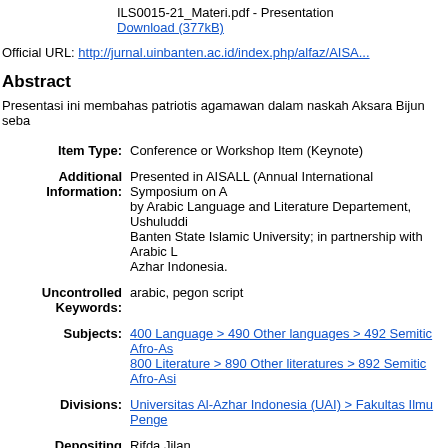ILS0015-21_Materi.pdf - Presentation
Download (377kB)
Official URL: http://jurnal.uinbanten.ac.id/index.php/alfaz/AISA...
Abstract
Presentasi ini membahas patriotis agamawan dalam naskah Aksara Bijun seba
| Field | Value |
| --- | --- |
| Item Type: | Conference or Workshop Item (Keynote) |
| Additional Information: | Presented in AISALL (Annual International Symposium on A by Arabic Language and Literature Departement, Ushuluddi Banten State Islamic University; in partnership with Arabic L Azhar Indonesia. |
| Uncontrolled Keywords: | arabic, pegon script |
| Subjects: | 400 Language > 490 Other languages > 492 Semitic Afro-As...
800 Literature > 890 Other literatures > 892 Semitic Afro-Asi... |
| Divisions: | Universitas Al-Azhar Indonesia (UAI) > Fakultas Ilmu Penge... |
| Depositing User: | Rifda Jilan |
| Date Deposited: | 03 Mar 2021 07:15 |
| Last Modified: | 03 Mar 2021 07:24 |
| URI: | http://eprints.uai.ac.id/id/eprint/1559 |